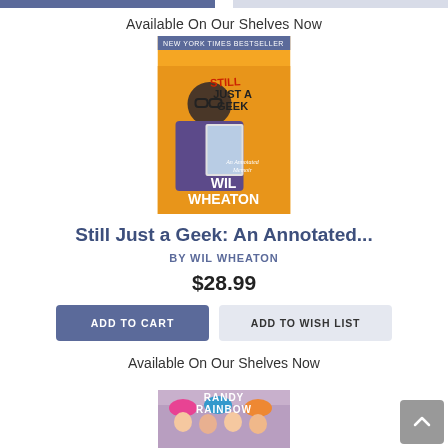[Figure (screenshot): Top navigation bar with two sections: dark blue-gray left portion and light gray right portion]
Available On Our Shelves Now
[Figure (photo): Book cover of 'Still Just a Geek: An Annotated Memoir' by Wil Wheaton. New York Times Bestseller. Orange background with author holding a book, title in bold letters.]
Still Just a Geek: An Annotated...
BY WIL WHEATON
$28.99
ADD TO CART
ADD TO WISH LIST
Available On Our Shelves Now
[Figure (photo): Partial book cover for Randy Rainbow book, showing group of people with text 'RANDY RAINBOW' at top]